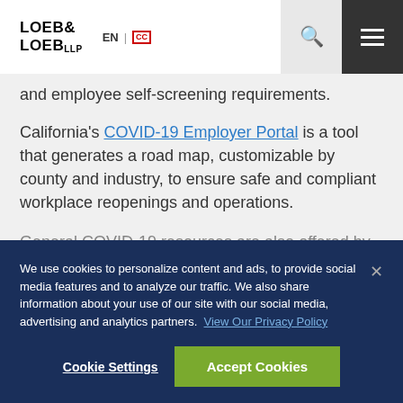LOEB & LOEB LLP | EN | CC
and employee self-screening requirements.
California's COVID-19 Employer Portal is a tool that generates a road map, customizable by county and industry, to ensure safe and compliant workplace reopenings and operations.
General COVID-19 resources are also offered by the
We use cookies to personalize content and ads, to provide social media features and to analyze our traffic. We also share information about your use of our site with our social media, advertising and analytics partners. View Our Privacy Policy
Cookie Settings
Accept Cookies